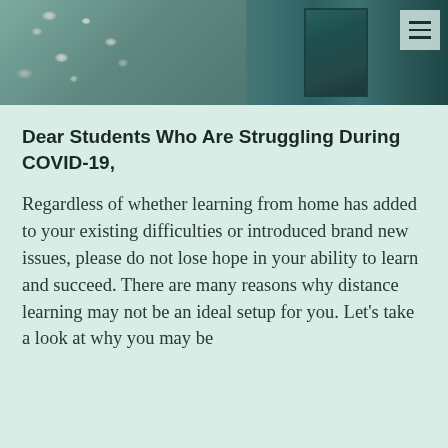[Figure (photo): Header photo showing colorful stones/pebbles on the left side and a teal/dark green sign on the right side, with a navigation menu icon in the top right corner.]
Dear Students Who Are Struggling During COVID-19,
Regardless of whether learning from home has added to your existing difficulties or introduced brand new issues, please do not lose hope in your ability to learn and succeed. There are many reasons why distance learning may not be an ideal setup for you. Let's take a look at why you may be